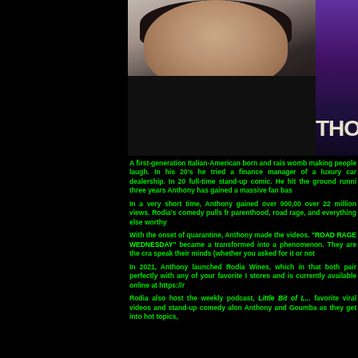[Figure (photo): Headshot of a man in a black polo shirt, smiling, with a partial image on the right side showing stylized text]
A first-generation Italian-American born and raised in New York, Anthony Rodia has been funny since leaving the womb making people laugh. In his 20's he tried a career in music and then spent about 15 years as a finance manager of a luxury car dealership. In 2017, Anthony made the jump and became a full-time stand-up comic. He hit the ground running and never looked back and in just three years Anthony has gained a massive fan base.
In a very short time, Anthony gained over 900,000 followers on Facebook and his videos have garnered over 22 million views. Rodia's comedy pulls from everyday observations and personal experiences in parenthood, road rage, and everything else worthy of a good laugh.
With the onset of quarantine, Anthony made the decision to go live on Facebook daily with his comedy videos. "ROAD RAGE WEDNESDAY" became a weekly staple but his Facebook lives quickly transformed into a phenomenon. They are the crass, unedited and unfiltered version of Anthony who loves to speak their minds (whether you asked for it or not).
In 2021, Anthony launched Rodia Wines, which includes a red wine and a white wine. Two quality wines that both pair perfectly with any of your favorite Italian foods. Rodia Wines is available in participating stores and is currently available online at https://r...
Rodia also host the weekly podcast, Little Bit of L... favorite viral videos and stand-up comedy alon... Anthony and Goumba as they get into hot topics,...